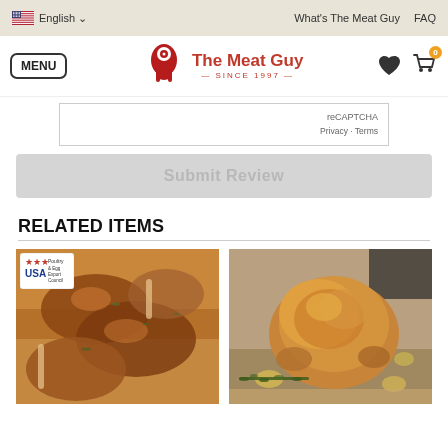English | What's The Meat Guy | FAQ
[Figure (logo): The Meat Guy logo with menu button, heart and cart icons]
reCAPTCHA
Privacy - Terms
Submit Review
RELATED ITEMS
[Figure (photo): Roasted chicken legs/drumsticks on parchment with herbs, USA Poultry badge in top left]
[Figure (photo): Whole roasted chicken with lemon slices and rosemary on wooden board]